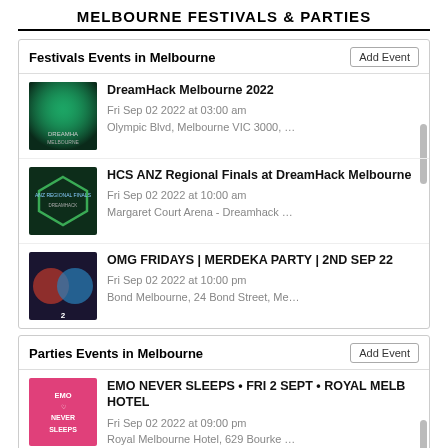MELBOURNE FESTIVALS & PARTIES
Festivals Events in Melbourne
DreamHack Melbourne 2022
Fri Sep 02 2022 at 03:00 am
Olympic Blvd, Melbourne VIC 3000, …
HCS ANZ Regional Finals at DreamHack Melbourne
Fri Sep 02 2022 at 10:00 am
Margaret Court Arena - Dreamhack …
OMG FRIDAYS | MERDEKA PARTY | 2ND SEP 22
Fri Sep 02 2022 at 10:00 pm
Bond Melbourne, 24 Bond Street, Me…
Parties Events in Melbourne
EMO NEVER SLEEPS • FRI 2 SEPT • ROYAL MELB HOTEL
Fri Sep 02 2022 at 09:00 pm
Royal Melbourne Hotel, 629 Bourke …